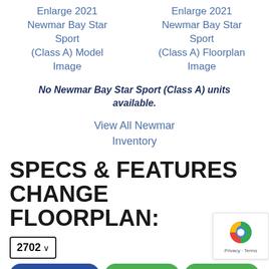Enlarge 2021 Newmar Bay Star Sport (Class A) Model Image
Enlarge 2021 Newmar Bay Star Sport (Class A) Floorplan Image
No Newmar Bay Star Sport (Class A) units available.
View All Newmar Inventory
SPECS & FEATURES CHANGE FLOORPLAN:
2702
Specifications   Interior   Exterior